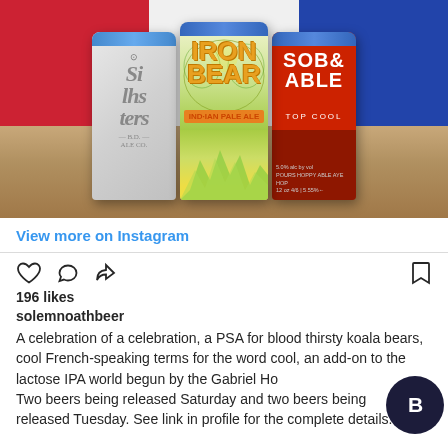[Figure (photo): Three craft beer cans side by side on a wooden surface with a red, white, and blue flag background. Left can is silver/white with ornate lettering, middle can shows 'IRON BEAR' in bold yellow/orange letters on a colorful illustrated design, right can is red with 'SOB& ABLE TOP COOL' in white letters.]
View more on Instagram
196 likes
solemnoathbeer
A celebration of a celebration, a PSA for blood thirsty koala bears, cool French-speaking terms for the word cool, an add-on to the lactose IPA world begun by the Gabriel Hounds. Two beers being released Saturday and two beers being released Tuesday. See link in profile for the complete details.